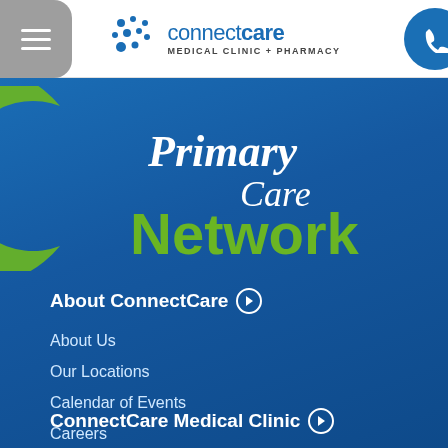[Figure (logo): ConnectCare Medical Clinic + Pharmacy logo with dot pattern]
[Figure (logo): Primary Care Network logo with green crescent and green Network text on blue background]
About ConnectCare
About Us
Our Locations
Calendar of Events
Careers
Contact Us
ConnectCare Medical Clinic